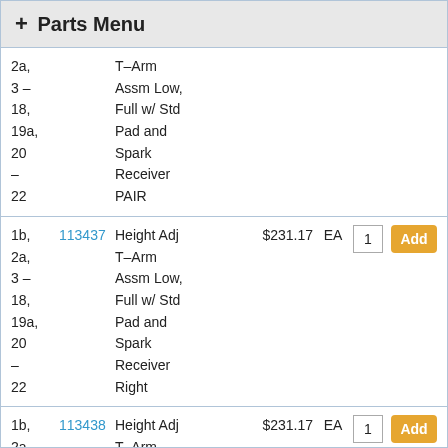+ Parts Menu
2a, 3 - 18, 19a, 20 - 22  |  T-Arm Assm Low, Full w/ Std Pad and Spark Receiver PAIR
1b, 2a, 3 - 18, 19a, 20 - 22  |  113437  |  Height Adj T-Arm Assm Low, Full w/ Std Pad and Spark Receiver Right  |  $231.17  |  EA
1b, 2a, 3 - 18, 19a, 20 -  |  113438  |  Height Adj T-Arm Assm Low, Full w/ Std Pad and  |  $231.17  |  EA